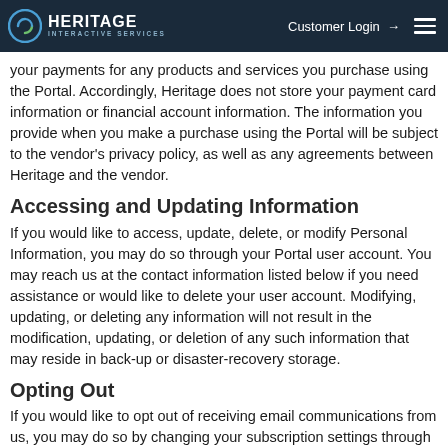Heritage Interactive Services — Customer Login
your payments for any products and services you purchase using the Portal. Accordingly, Heritage does not store your payment card information or financial account information. The information you provide when you make a purchase using the Portal will be subject to the vendor's privacy policy, as well as any agreements between Heritage and the vendor.
Accessing and Updating Information
If you would like to access, update, delete, or modify Personal Information, you may do so through your Portal user account. You may reach us at the contact information listed below if you need assistance or would like to delete your user account. Modifying, updating, or deleting any information will not result in the modification, updating, or deletion of any such information that may reside in back-up or disaster-recovery storage.
Opting Out
If you would like to opt out of receiving email communications from us, you may do so by changing your subscription settings through your Portal user account or contacting us at the contact